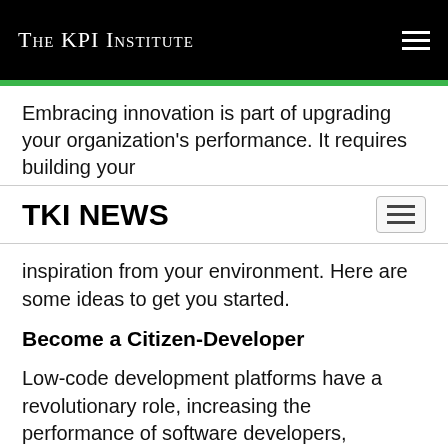The KPI Institute
Embracing innovation is part of upgrading your organization's performance. It requires building your
TKI NEWS
inspiration from your environment. Here are some ideas to get you started.
Become a Citizen-Developer
Low-code development platforms have a revolutionary role, increasing the performance of software developers, accelerating application delivery, and simplifying complex tasks. At the same time, low-code